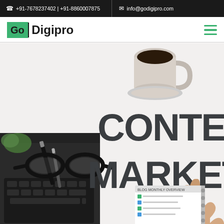☎ +91-7678237402 | +91-8860007875   ✉ info@godigipro.com
[Figure (logo): Go Digipro logo with green box containing 'Go' text and 'Digipro' in black bold]
[Figure (photo): Content Marketing themed photo showing glasses, pen, notebook, coffee cup, and large bold text reading 'CONTENT MARKETING' with a hand pointing at it]